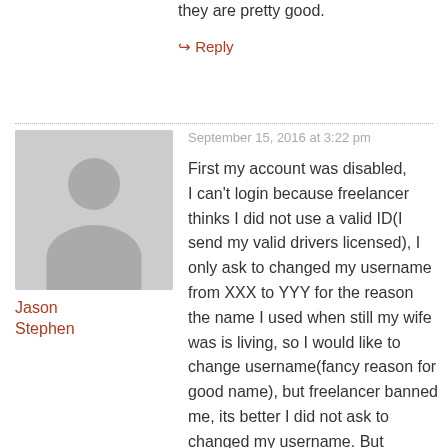they are pretty good.
↳ Reply
Jason Stephen
September 15, 2016 at 3:22 pm
First my account was disabled, I can't login because freelancer thinks I did not use a valid ID(I send my valid drivers licensed), I only ask to changed my username from XXX to YYY for the reason the name I used when still my wife was is living, so I would like to change username(fancy reason for good name), but freelancer banned me, its better I did not ask to changed my username. But someone from freelancer as a good member of Board of Directors(I think) I